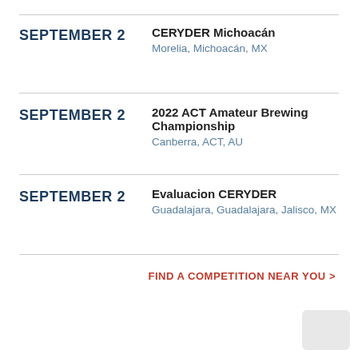SEPTEMBER 2 — CERYDER Michoacán, Morelia, Michoacán, MX
SEPTEMBER 2 — 2022 ACT Amateur Brewing Championship, Canberra, ACT, AU
SEPTEMBER 2 — Evaluacion CERYDER, Guadalajara, Guadalajara, Jalisco, MX
FIND A COMPETITION NEAR YOU >